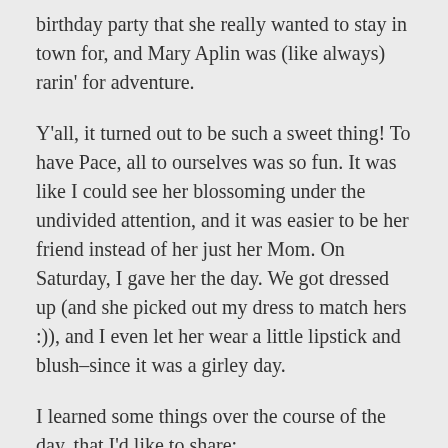birthday party that she really wanted to stay in town for, and Mary Aplin was (like always) rarin' for adventure.
Y'all, it turned out to be such a sweet thing! To have Pace, all to ourselves was so fun. It was like I could see her blossoming under the undivided attention, and it was easier to be her friend instead of her just her Mom. On Saturday, I gave her the day. We got dressed up (and she picked out my dress to match hers :)), and I even let her wear a little lipstick and blush–since it was a girley day.
I learned some things over the course of the day, that I'd like to share:
1) I need to start reading more advanced books to Pace instead of always reading to the girls together.